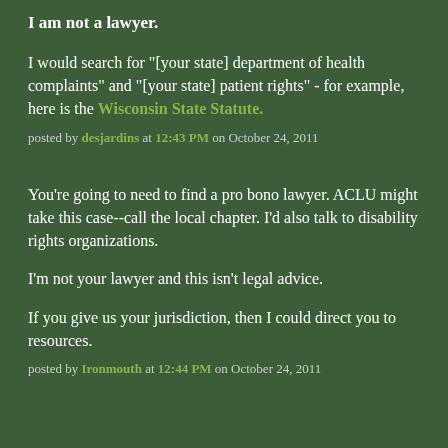I am not a lawyer.
I would search for "[your state] department of health complaints" and "[your state] patient rights" - for example, here is the Wisconsin State Statute.
posted by desjardins at 12:43 PM on October 24, 2011
You’re going to need to find a pro bono lawyer. ACLU might take this case--call the local chapter. I’d also talk to disability rights organizations.
I’m not your lawyer and this isn’t legal advice.
If you give us your jurisdiction, then I could direct you to resources.
posted by Ironmouth at 12:44 PM on October 24, 2011